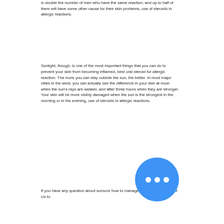is double the number of men who have the same reaction, and up to half of them will have some other cause for their skin problems, use of steroids in allergic reactions.
Sunlight, though, is one of the most important things that you can do to prevent your skin from becoming inflamed, best oral steroid for allergic reaction. The more you can stay outside the sun, the better. In most major cities in the west, you can actually see the difference in your skin at noon when the sun's rays are weaker, and after three hours when they are stronger. Your skin will be more visibly damaged when the sun is the strongest in the morning or in the evening, use of steroids in allergic reactions.
If you have any question about sunscreen how to manage acne, please Contact Us to